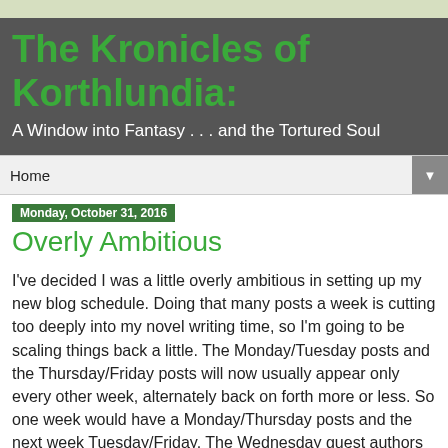The Kronicles of Korthlundia:
A Window into Fantasy . . . and the Tortured Soul
Home
Monday, October 31, 2016
Overly Ambitious
I've decided I was a little overly ambitious in setting up my new blog schedule. Doing that many posts a week is cutting too deeply into my novel writing time, so I'm going to be scaling things back a little. The Monday/Tuesday posts and the Thursday/Friday posts will now usually appear only every other week, alternately back on forth more or less. So one week would have a Monday/Thursday posts and the next week Tuesday/Friday. The Wednesday guest authors will